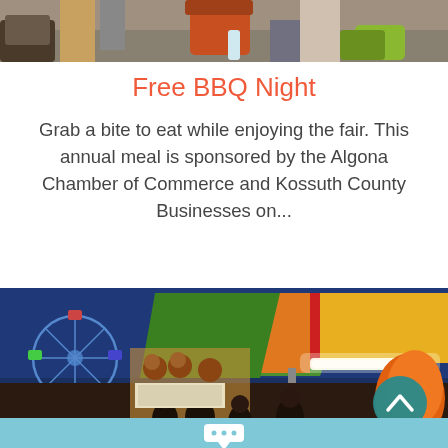[Figure (photo): Top portion of a photo showing people's feet and legs on pavement at a fair, partially cropped]
Free BBQ Night
Grab a bite to eat while enjoying the fair. This annual meal is sponsored by the Algona Chamber of Commerce and Kossuth County Businesses on...
[Figure (photo): Night photo of a county fair showing colorful tent canopy with red, green, yellow sections, ferris wheel in background, carnival game booths with stuffed animal prizes, visitors walking around]